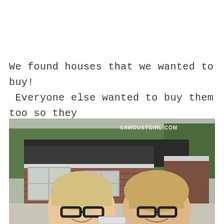We found houses that we wanted to buy!  Everyone else wanted to buy them too so they had multiple offers before our realtor could even tell us to wipe those smiles of our faces. 🙂
[Figure (photo): Two women with short blonde/light brown hair and black-framed glasses smiling in front of a brick ranch house with a dark roof and white-trimmed windows, with trees in the background. Watermark reads SAWDUSTGIRL.COM in the upper right.]